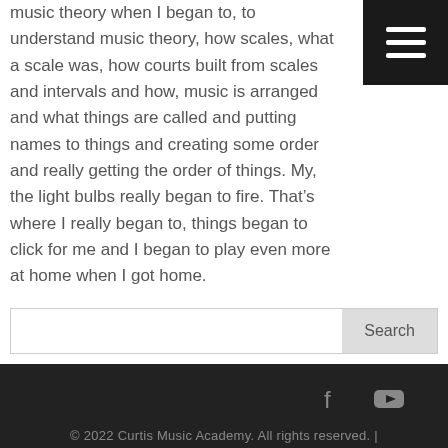music theory when I began to, to understand music theory, how scales, what a scale was, how courts built from scales and intervals and how, music is arranged and what things are called and putting names to things and creating some order and really getting the order of things. My, the light bulbs really began to fire. That’s where I really began to, things began to click for me and I began to play even more at home when I got home.
[Figure (other): Hamburger menu button (dark square with three white horizontal lines)]
Search
© 2022 Curtis Music Academy. All rights reserved. | Sitemap | Site by RGConsulting